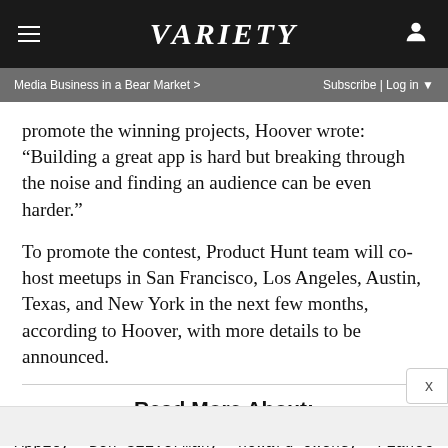VARIETY
Media Business in a Bear Market >   Subscribe | Log in
promote the winning projects, Hoover wrote: “Building a great app is hard but breaking through the noise and finding an audience can be even harder.”
To promote the contest, Product Hunt team will co-host meetups in San Francisco, Los Angeles, Austin, Texas, and New York in the next few months, according to Hoover, with more details to be announced.
Read More About:
Apple,  Ben Silverman,  Howard Owens,  Planet of the Apps,  Propagate Content,  Will.i.am